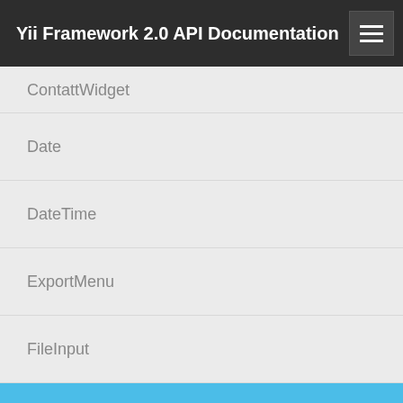Yii Framework 2.0 API Documentation
ContattWidget
Date
DateTime
ExportMenu
FileInput
Map
Money
Number
Password
PasswordInput